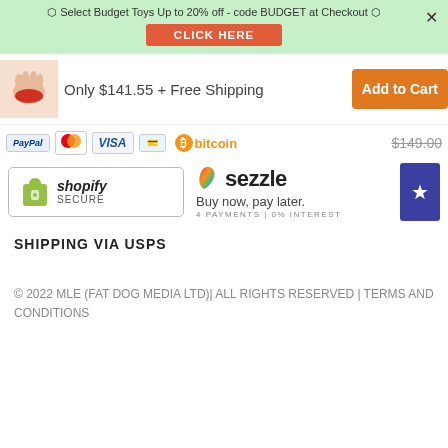⬡ Select Budget Toys Up to 20% off - code BUDGET at Checkout ⬡
CLICK HERE
[Figure (photo): Thumbnail image of hands with red toy]
Only $141.55 + Free Shipping
Add to Cart
[Figure (infographic): Payment method icons: PayPal, Mastercard, Visa, card icon, Bitcoin logo]
$149.00 (strikethrough)
[Figure (logo): Sezzle logo with colorful swirl icon]
Buy now, pay later. 4 PAYMENTS | 0% INTEREST
[Figure (logo): Shopify Secure badge with green shopping bag icon]
SHIPPING VIA USPS
© 2022 MLE (FAT DOG MEDIA LTD)| ALL RIGHTS RESERVED | TERMS AND CONDITIONS